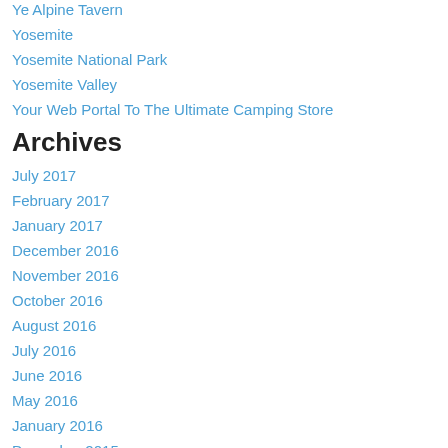Ye Alpine Tavern
Yosemite
Yosemite National Park
Yosemite Valley
Your Web Portal To The Ultimate Camping Store
Archives
July 2017
February 2017
January 2017
December 2016
November 2016
October 2016
August 2016
July 2016
June 2016
May 2016
January 2016
December 2015
November 2015
October 2015